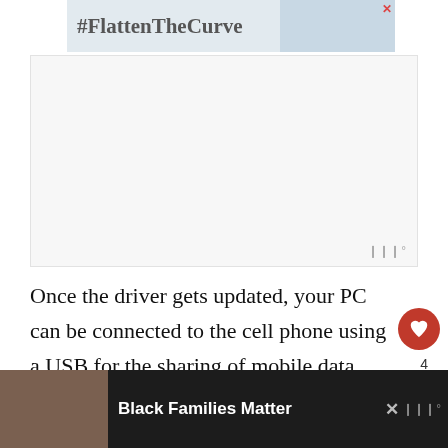[Figure (screenshot): Top advertisement banner with #FlattenTheCurve text and hand-washing image]
[Figure (screenshot): Large rectangular advertisement block (white/light grey), with Moat watermark in bottom right corner]
Once the driver gets updated, your PC can be connected to the cell phone using a USB for the sharing of mobile data.
How To Connect Mobile
[Figure (screenshot): Bottom advertisement bar showing Black Families Matter text with family photo, dark background, close button and Moat watermark]